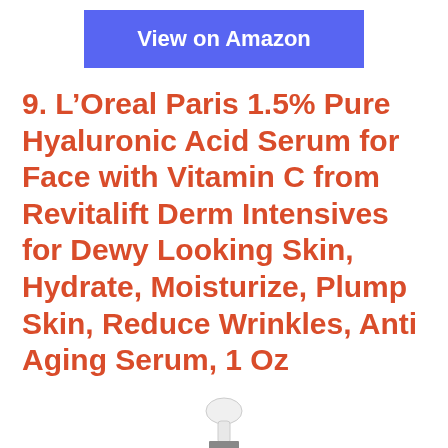[Figure (other): Blue 'View on Amazon' button]
9. L’Oreal Paris 1.5% Pure Hyaluronic Acid Serum for Face with Vitamin C from Revitalift Derm Intensives for Dewy Looking Skin, Hydrate, Moisturize, Plump Skin, Reduce Wrinkles, Anti Aging Serum, 1 Oz
[Figure (photo): Bottom portion of a dropper bottle of L’Oreal Paris serum with white dropper cap and silver/clear bottle body]